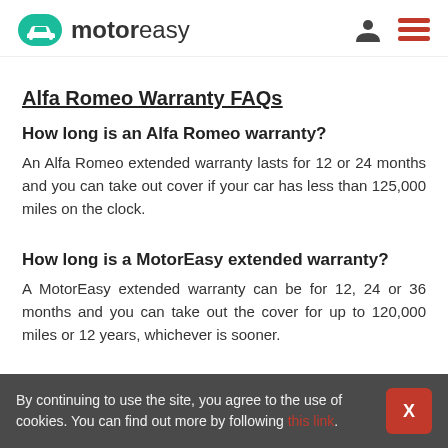motoreasy
Alfa Romeo Warranty FAQs
How long is an Alfa Romeo warranty?
An Alfa Romeo extended warranty lasts for 12 or 24 months and you can take out cover if your car has less than 125,000 miles on the clock.
How long is a MotorEasy extended warranty?
A MotorEasy extended warranty can be for 12, 24 or 36 months and you can take out the cover for up to 120,000 miles or 12 years, whichever is sooner.
By continuing to use the site, you agree to the use of cookies. You can find out more by following this link.